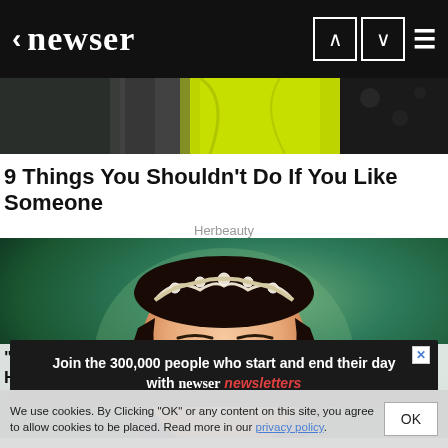< newser
[Figure (photo): Partial image of a person in a yellow/lime dress against dark background — advertisement strip]
9 Things You Shouldn't Do If You Like Someone
Herbeauty
[Figure (photo): Close-up photo of a young girl wearing a floral tiara/crown, smiling, with dark curly hair, against a teal/green background]
Join the 300,000 people who start and end their day with newser newsletters
"Chroni...mused...ee How Sh...
We use cookies. By Clicking "OK" or any content on this site, you agree to allow cookies to be placed. Read more in our privacy policy.